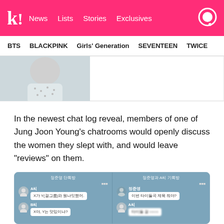K! News Lists Stories Exclusives
BTS   BLACKPINK   Girls' Generation   SEVENTEEN   TWICE
[Figure (photo): Partial photo of a person wearing a patterned shirt, cropped to show the upper body and face partially visible]
In the newest chat log reveal, members of one of Jung Joon Young’s chatrooms would openly discuss the women they slept with, and would leave “reviews” on them.
[Figure (screenshot): Two side-by-side chat log screenshots in Korean showing conversations in Jung Joon Young's chatroom, with blurred profile pictures and text messages]